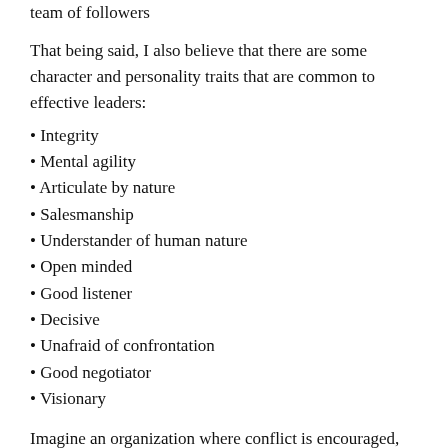team of followers
That being said, I also believe that there are some character and personality traits that are common to effective leaders:
Integrity
Mental agility
Articulate by nature
Salesmanship
Understander of human nature
Open minded
Good listener
Decisive
Unafraid of confrontation
Good negotiator
Visionary
Imagine an organization where conflict is encouraged, allowing innovation to flourish...